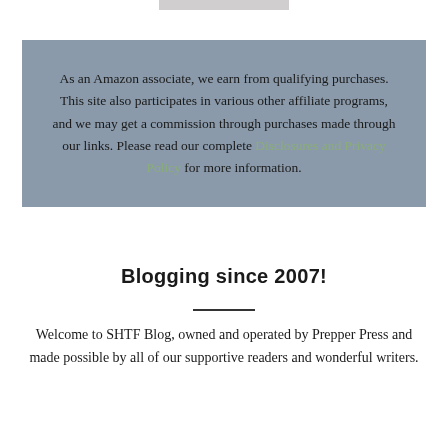As an Amazon associate, we earn from qualifying purchases. This site also participates in various other affiliate programs, and we may get a commission through purchases made through our links. Please read our complete Disclosures and Privacy Policy for more information.
Blogging since 2007!
Welcome to SHTF Blog, owned and operated by Prepper Press and made possible by all of our supportive readers and wonderful writers.